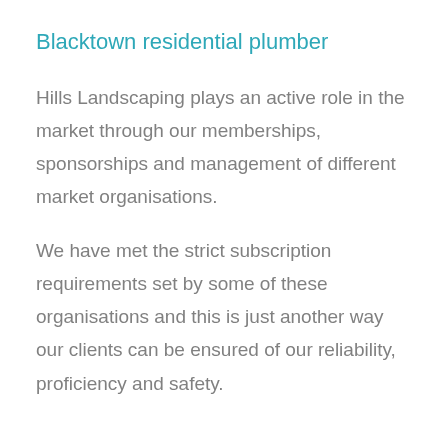Blacktown residential plumber
Hills Landscaping plays an active role in the market through our memberships, sponsorships and management of different market organisations.
We have met the strict subscription requirements set by some of these organisations and this is just another way our clients can be ensured of our reliability, proficiency and safety.